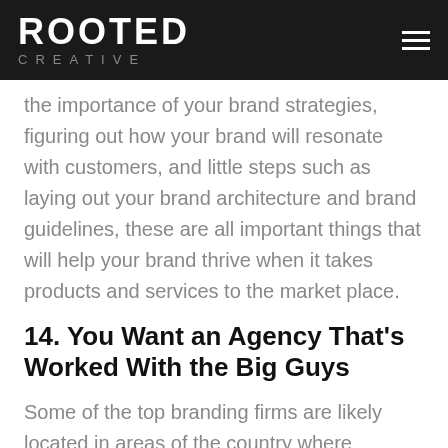ROOTED CREATIVE
the importance of your brand strategies, figuring out how your brand will resonate with customers, and little steps such as laying out your brand architecture and brand guidelines, these are all important things that will help your brand thrive when it takes products and services to the market place.
14. You Want an Agency That's Worked With the Big Guys
Some of the top branding firms are likely located in areas of the country where business thrives. Some of the top branding agencies are